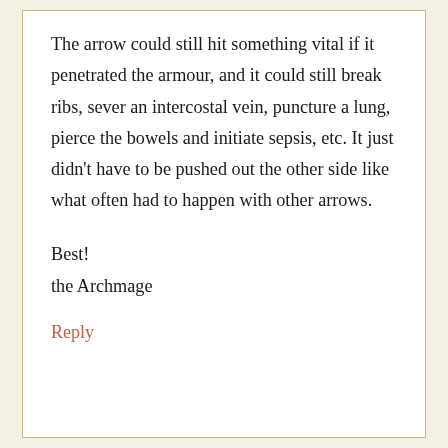The arrow could still hit something vital if it penetrated the armour, and it could still break ribs, sever an intercostal vein, puncture a lung, pierce the bowels and initiate sepsis, etc. It just didn't have to be pushed out the other side like what often had to happen with other arrows.
Best!
the Archmage
Reply